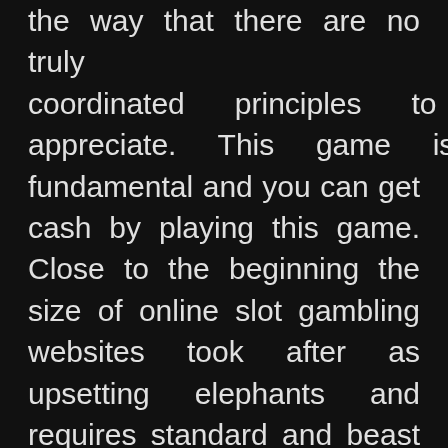the way that there are no truly coordinated principles to appreciate. This game is fundamental and you can get cash by playing this game. Close to the beginning the size of online slot gambling websites took after as upsetting elephants and requires standard and beast upkeep. A short period of time later, high enhancement for and on included with online slot gambling website and it is really striking every single headway from this time forward. At present the central choice of gambling players is online slot gambling. There are henceforth